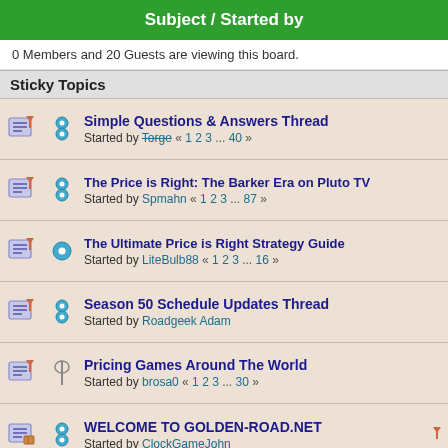Subject / Started by
0 Members and 20 Guests are viewing this board.
Sticky Topics
Simple Questions & Answers Thread — Started by Torge « 1 2 3 ... 40 »
The Price is Right: The Barker Era on Pluto TV — Started by Spmahn « 1 2 3 ... 87 »
The Ultimate Price is Right Strategy Guide — Started by LiteBulb88 « 1 2 3 ... 16 »
Season 50 Schedule Updates Thread — Started by Roadgeek Adam
Pricing Games Around The World — Started by brosa0 « 1 2 3 ... 30 »
WELCOME TO GOLDEN-ROAD.NET — Started by ClockGameJohn
Normal Topics
Cullen's Price is right taken off buzzer